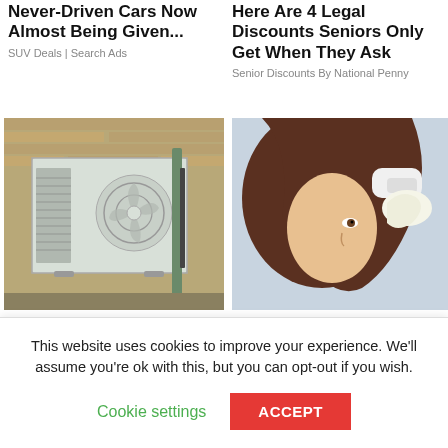Never-Driven Cars Now Almost Being Given...
SUV Deals | Search Ads
Here Are 4 Legal Discounts Seniors Only Get When They Ask
Senior Discounts By National Penny
[Figure (photo): Outdoor ductless AC unit mounted on a brick wall]
[Figure (photo): Person applying treatment to hair/scalp while someone holds their head]
Seniors Are Snapping Up Ductless AC Units (Latest Price Drop)
Biological Treatment For Psoriasis (Some May Want To Check It...
This website uses cookies to improve your experience. We'll assume you're ok with this, but you can opt-out if you wish.
Cookie settings
ACCEPT